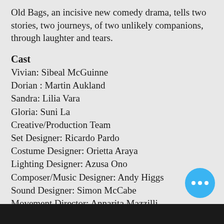Old Bags, an incisive new comedy drama, tells two stories, two journeys, of two unlikely companions, through laughter and tears.
Cast
Vivian: Sibeal McGuinne
Dorian : Martin Aukland
Sandra: Lilia Vara
Gloria: Suni La
Creative/Production Team
Set Designer: Ricardo Pardo
Costume Designer: Orietta Araya
Lighting Designer: Azusa Ono
Composer/Music Designer: Andy Higgs
Sound Designer: Simon McCabe
Movement Director: Annarita Mazzilli
Assistant Director Assistant Stage Manager: Marija Djacenko
Trainee Producer Assistant: Camilla [...]
Production Administrator:Giovanna [...]